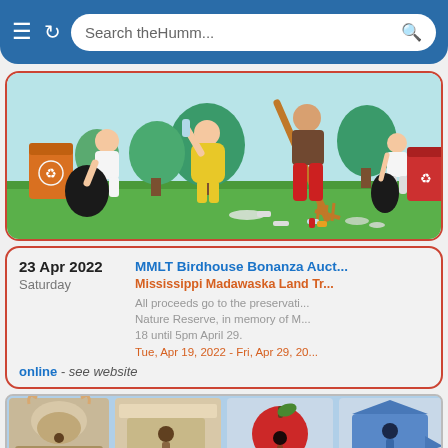Search theHumm...
[Figure (illustration): Illustration of people doing an outdoor cleanup/litter pick, with garbage bags, a rake, orange and red recycling bins, trees and grass in the background.]
23 Apr 2022
Saturday
MMLT Birdhouse Bonanza Auctio... Mississippi Madawaska Land Tr...
All proceeds go to the preservation of Nature Reserve, in memory of M... 18 until 5pm April 29.
Tue, Apr 19, 2022 - Fri, Apr 29, 20...
online - see website
[Figure (photo): Row of birdhouse photos on a light blue background: woven/natural material birdhouse, wooden flat-roofed birdhouse, red apple-shaped birdhouse, blue bird-silhouette birdhouse.]